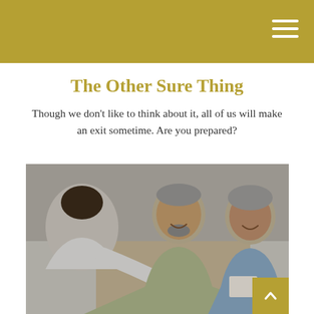The Other Sure Thing
Though we don’t like to think about it, all of us will make an exit sometime. Are you prepared?
[Figure (photo): A couple smiling and shaking hands with a financial advisor or consultant in a warm, domestic setting. The man has grey hair and a beard, wearing a light green polo shirt. The woman has grey hair and wears a light blue shirt. The advisor, seen from behind, is a dark-haired woman in a white top.]